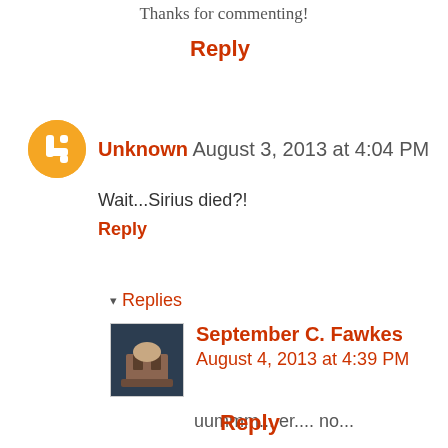Thanks for commenting!
Reply
Unknown August 3, 2013 at 4:04 PM
Wait...Sirius died?!
Reply
▾ Replies
September C. Fawkes August 4, 2013 at 4:39 PM
uummm... er.... no...
Reply